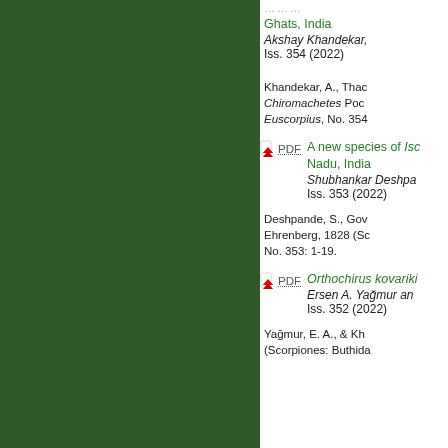[Figure (illustration): Dark green left panel background]
Ghats, India
Akshay Khandekar, ... Iss. 354 (2022)
Khandekar, A., Thac... Chiromachetes Poc... Euscorpius, No. 354...
PDF A new species of Isc... Nadu, India Shubhankar Deshpa... Iss. 353 (2022)
Deshpande, S., Gov... Ehrenberg, 1828 (Sc... No. 353: 1-19.
PDF Orthochirus kovariki... Ersen A. Yağmur an... Iss. 352 (2022)
Yağmur, E. A., & Kh... (Scorpiones: Buthida...